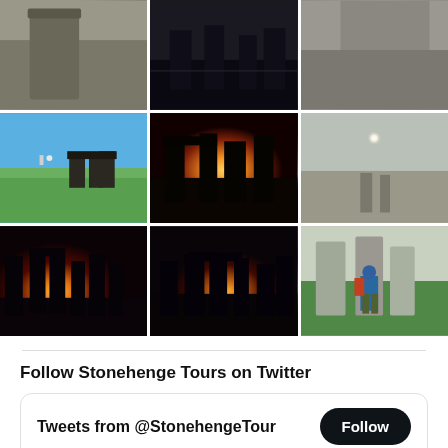[Figure (photo): 3x3 grid of Stonehenge photos. Row 1: close-up stone (grayscale), misty/dark stones, grey stone close-up. Row 2: wide Stonehenge on green field with blue sky, sunset behind stones silhouette, misty Stonehenge with bright sun. Row 3: Stonehenge at sunset with orange glow, Stonehenge stones against sunset, person photographing stones with backpack.]
Follow Stonehenge Tours on Twitter
Tweets from @StonehengeTour  Follow